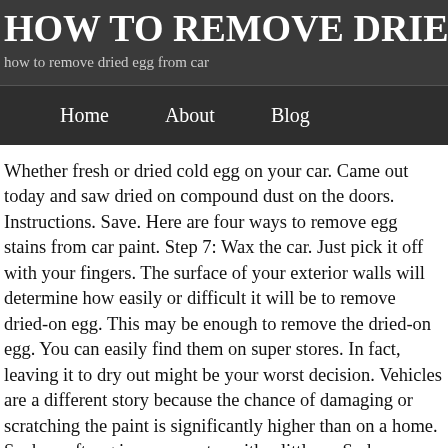HOW TO DRIE
how to remove dried egg from car
Home   About   Blog
Whether fresh or dried cold egg on your car. Came out today and saw dried on compound dust on the doors. Instructions. Save. Here are four ways to remove egg stains from car paint. Step 7: Wax the car. Just pick it off with your fingers. The surface of your exterior walls will determine how easily or difficult it will be to remove dried-on egg. This may be enough to remove the dried-on egg. You can easily find them on super stores. In fact, leaving it to dry out might be your worst decision. Vehicles are a different story because the chance of damaging or scratching the paint is significantly higher than on a home. Soak a soft rag in warm water with a little … Suds up: With the egg shells removed, hose down the car and mix together some car-wash soap. But yes - try it on an inconspicuous part of the car